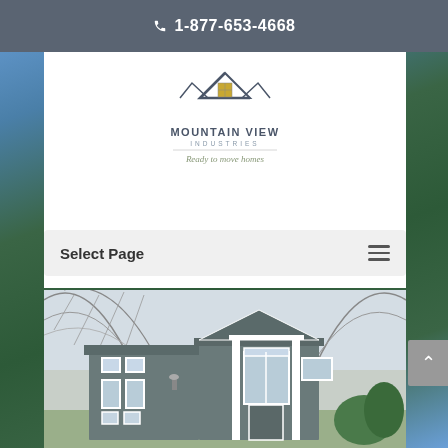1-877-653-4668
[Figure (logo): Mountain View Industries logo with house/mountain icon and tagline 'Ready to move homes']
Select Page
[Figure (photo): A gray tiny home / modular house with white trim windows inside a large covered greenhouse-style structure with arched metal roof trusses]